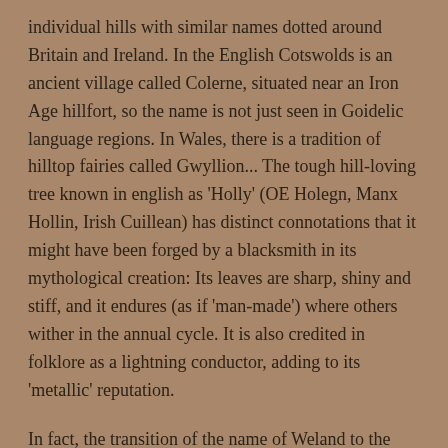individual hills with similar names dotted around Britain and Ireland. In the English Cotswolds is an ancient village called Colerne, situated near an Iron Age hillfort, so the name is not just seen in Goidelic language regions. In Wales, there is a tradition of hilltop fairies called Gwyllion... The tough hill-loving tree known in english as 'Holly' (OE Holegn, Manx Hollin, Irish Cuillean) has distinct connotations that it might have been forged by a blacksmith in its mythological creation: Its leaves are sharp, shiny and stiff, and it endures (as if 'man-made') where others wither in the annual cycle. It is also credited in folklore as a lightning conductor, adding to its 'metallic' reputation.
In fact, the transition of the name of Weland to the gutturalised Cuillean can be traced through France, where references in medieval writings to the fabulous